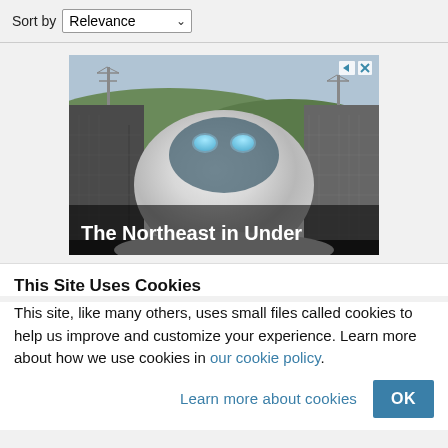Sort by Relevance
[Figure (photo): Advertisement showing the front of a high-speed train (Hyperloop or maglev type) in a tunnel with text overlay 'The Northeast in Under']
This Site Uses Cookies
This site, like many others, uses small files called cookies to help us improve and customize your experience. Learn more about how we use cookies in our cookie policy.
Learn more about cookies   OK